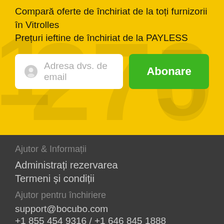Compară oferte de închiriat de la toți furnizorii în Vitrolles
Prețuri ieftine de închiriat de la PAYLESS
[Figure (screenshot): Email subscription input field with placeholder 'Adresa dvs. de email' and a green 'Abonare' button]
Ajutor & Informații
Administrați rezervarea
Termeni și condiții
Întrebări frecvente
Ajutor pentru închiriere
support@bocubo.com
+1 855 454 9316 / +1 646 845 1888